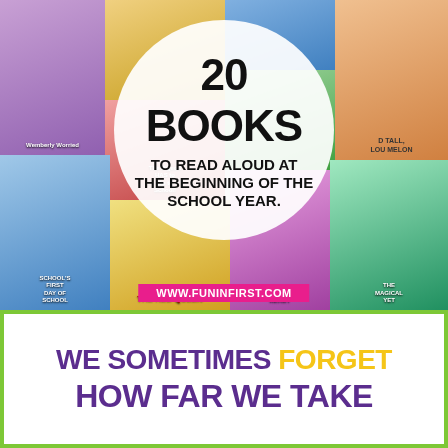[Figure (infographic): Collage of children's book covers including Wemberly Worried, The Pigeon Has to Go to School, School's First Day of School, Teacher Ready, Do Unto Otters, The Magical Yet, and others. A white circle overlay in the center contains the text '20 BOOKS TO READ ALOUD AT THE BEGINNING OF THE SCHOOL YEAR.' A pink bar at the bottom reads www.funinfirst.com]
WE SOMETIMES FORGET HOW FAR WE TAKE